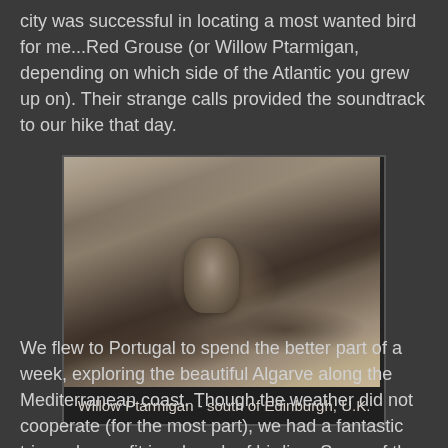city was successful in locating a most wanted bird for me...Red Grouse (or Willow Ptarmigan, depending on which side of the Atlantic you grew up on). Their strange calls provided the soundtrack to our hike that day.
[Figure (photo): A Willow Ptarmigan (Red Grouse) standing among heather and grass on moorland south of Edinburgh, U.K. The bird is brown and mottled, blending into the vegetation.]
Willow Ptarmigan - south of Edinburgh, U.K.
We flew to Portugal to spend the better part of a week, exploring the beautiful Algarve along the Mediterranean coast. Though the weather did not cooperate (for the most part), we had a fantastic trip and even fit in a bunch of birding. Some of the highlights...